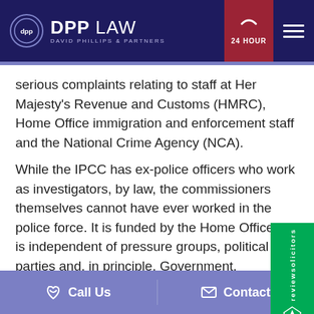[Figure (logo): DPP Law - David Phillips & Partners logo with circular DPP emblem on dark navy header bar with 24 HOUR phone button and hamburger menu]
serious complaints relating to staff at Her Majesty's Revenue and Customs (HMRC), Home Office immigration and enforcement staff and the National Crime Agency (NCA).
While the IPCC has ex-police officers who work as investigators, by law, the commissioners themselves cannot have ever worked in the police force. It is funded by the Home Office but is independent of pressure groups, political parties and, in principle, Government.
Call Us   Contact